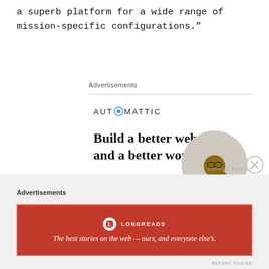a superb platform for a wide range of mission-specific configurations.”
Advertisements
[Figure (other): Automattic advertisement: Build a better web and a better world. Apply button. Person thinking in circular photo.]
Advertisements
[Figure (other): Longreads advertisement banner: The best stories on the web — ours, and everyone else’s.]